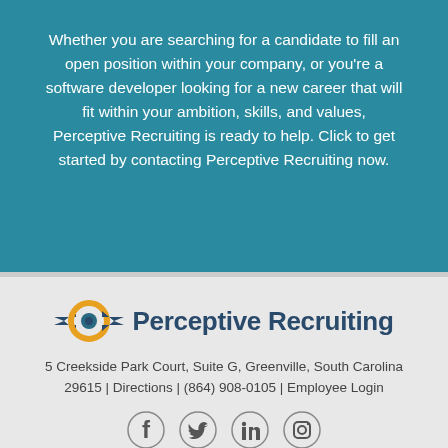Whether you are searching for a candidate to fill an open position within your company, or you're a software developer looking for a new career that will fit within your ambition, skills, and values, Perceptive Recruiting is ready to help. Click to get started by contacting Perceptive Recruiting now.
[Figure (logo): Perceptive Recruiting logo with eye icon (orange circle with teal arrows and teal dot center) and company name in dark teal bold text]
5 Creekside Park Court, Suite G, Greenville, South Carolina 29615 | Directions | (864) 908-0105 | Employee Login
[Figure (illustration): Row of four social media icons: Facebook, Twitter, LinkedIn, Instagram]